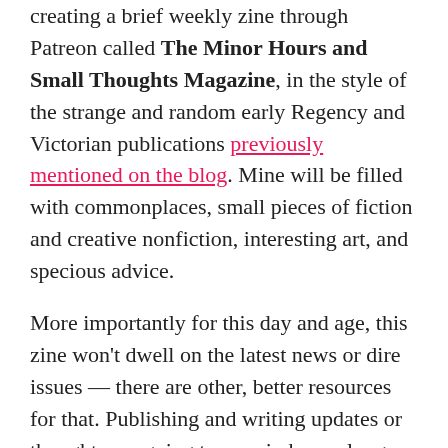creating a brief weekly zine through Patreon called The Minor Hours and Small Thoughts Magazine, in the style of the strange and random early Regency and Victorian publications previously mentioned on the blog. Mine will be filled with commonplaces, small pieces of fiction and creative nonfiction, interesting art, and specious advice.
More importantly for this day and age, this zine won't dwell on the latest news or dire issues — there are other, better resources for that. Publishing and writing updates or thoughts are going to remain here, along with longer pieces, and my irregular (free) newsletter for publishing updates is always available for signup. But the miscellany of life is what I'd like to record, both my own and others', and I think that has value all by itself.
The first issue is up and free here for anyone who'd like to see vaguely what I'm offering — $1 a month gets you a